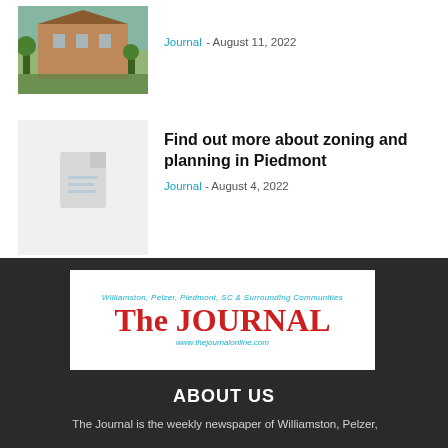[Figure (photo): Photo of a brick building exterior, likely a government or civic building]
Journal - August 11, 2022
[Figure (illustration): Generic document/article placeholder icon on light gray background]
Find out more about zoning and planning in Piedmont
Journal - August 4, 2022
[Figure (logo): The Journal newspaper logo: Williamston, Pelzer, Piedmont, SC & Surrounding Communities — The JOURNAL — www.thejournalonline.com]
ABOUT US
The Journal is the weekly newspaper of Williamston, Pelzer,